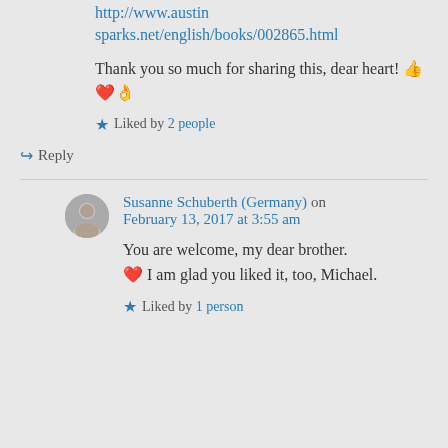http://www.austinsparks.net/english/books/002865.html
Thank you so much for sharing this, dear heart! 👍❤️👌
★ Liked by 2 people
↪ Reply
Susanne Schuberth (Germany) on February 13, 2017 at 3:55 am
You are welcome, my dear brother. ❤️ I am glad you liked it, too, Michael.
★ Liked by 1 person